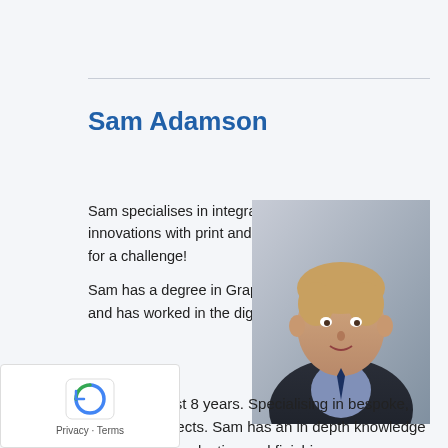Sam Adamson
Sam specialises in integrating new innovations with print and is always up for a challenge!
[Figure (photo): Headshot photo of Sam Adamson, a young man in a suit and checkered shirt, smiling slightly]
Sam has a degree in Graphic Design and has worked in the digital print industry for the last 8 years. Specialising in bespoke, short run projects. Sam has an in depth knowledge of prepress, production and finishing.